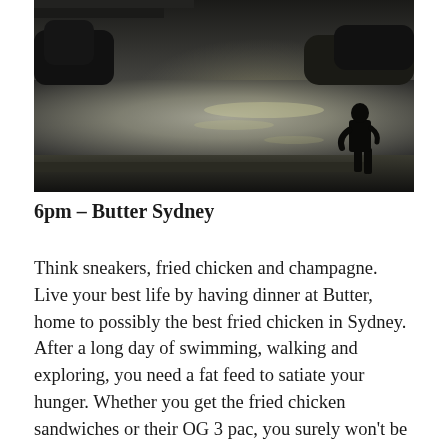[Figure (photo): Silhouette of a person standing at the edge of a waterway at dusk or dawn, with shimmering water, trees and a bridge or structure visible in the background. The image is in black and white tones.]
6pm – Butter Sydney
Think sneakers, fried chicken and champagne. Live your best life by having dinner at Butter, home to possibly the best fried chicken in Sydney. After a long day of swimming, walking and exploring, you need a fat feed to satiate your hunger. Whether you get the fried chicken sandwiches or their OG 3 pac, you surely won't be disappointed.